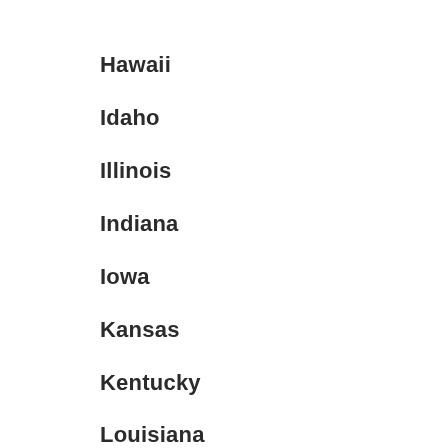Hawaii
Idaho
Illinois
Indiana
Iowa
Kansas
Kentucky
Louisiana